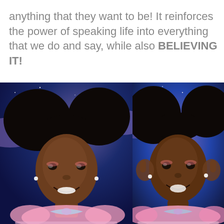anything that they want to be! It reinforces the power of speaking life into everything that we do and say, while also BELIEVING IT!
[Figure (photo): Portrait photo of a young Black girl with large natural afro puffs hairstyle, wearing pearl earrings and a pink fluffy outfit with iridescent bow. She is smiling. Background is a dark blue starry sky with purple clouds.]
[Figure (photo): Portrait photo of a young Black girl with large natural afro puffs hairstyle, wearing pearl earrings and a pink fluffy outfit with iridescent bow. She has hands raised near her face with an open-mouthed smile. Background is blue with purple clouds.]